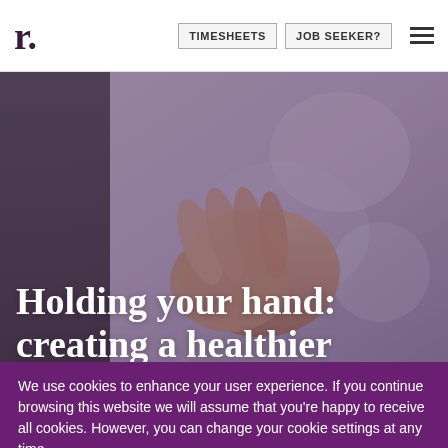r. | TIMESHEETS | JOB SEEKER?
[Figure (photo): Two people holding hands outdoors, soft purple-toned background, romantic or supportive gesture]
Holding your hand: creating a healthier business
By Rullion on 15 June 2017
We use cookies to enhance your user experience. If you continue browsing this website we will assume that you're happy to receive all cookies. However, you can change your cookie settings at any time.
> Cookie Settings  ✓ Accept Cookies